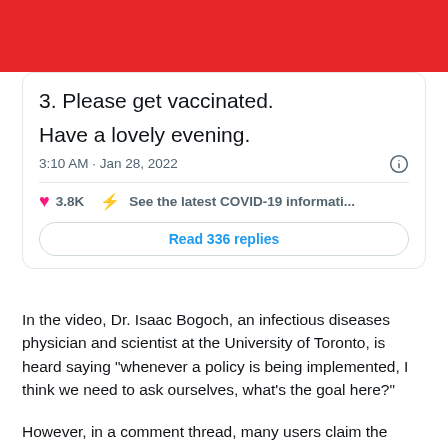[Figure (screenshot): Red header banner at top of page (Twitter/social media UI)]
3. Please get vaccinated.
Have a lovely evening.
3:10 AM · Jan 28, 2022
3.8K   See the latest COVID-19 informati...
Read 336 replies
In the video, Dr. Isaac Bogoch, an infectious diseases physician and scientist at the University of Toronto, is heard saying "whenever a policy is being implemented, I think we need to ask ourselves, what's the goal here?"
However, in a comment thread, many users claim the